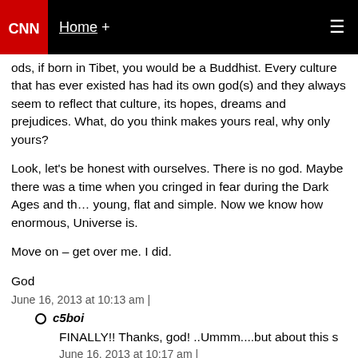CNN | Home +
ods, if born in Tibet, you would be a Buddhist. Every culture that has ever existed has had its own god(s) and they always seem to reflect that culture, its hopes, dreams and prejudices. What, do you think makes yours real, why only yours?
Look, let's be honest with ourselves. There is no god. Maybe there was a time when you cringed in fear during the Dark Ages and the world seemed small, young, flat and simple. Now we know how enormous, ancient and complex the Universe is.
Move on – get over me. I did.
God
June 16, 2013 at 10:13 am |
c5boi
FINALLY!! Thanks, god! ..Ummm....but about this s
June 16, 2013 at 10:17 am |
voiceoftruthusa